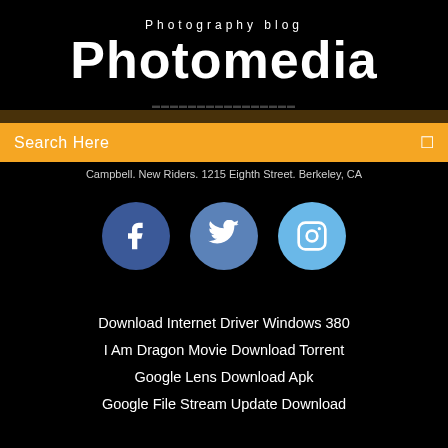Photography blog
Photomedia
Campbell. New Riders. 1215 Eighth Street. Berkeley, CA
Search Here
[Figure (infographic): Three social media icons: Facebook (dark blue circle), Twitter (medium blue circle), Instagram (light blue circle)]
Download Internet Driver Windows 380
I Am Dragon Movie Download Torrent
Google Lens Download Apk
Google File Stream Update Download